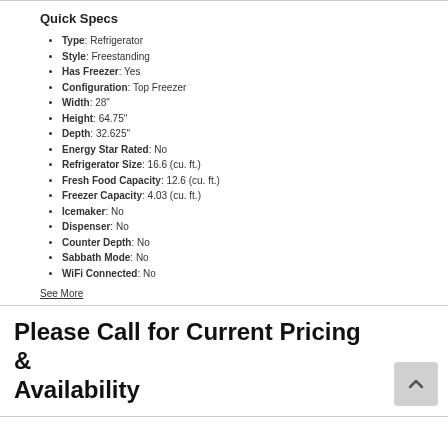Quick Specs
Type: Refrigerator
Style: Freestanding
Has Freezer: Yes
Configuration: Top Freezer
Width: 28"
Height: 64.75"
Depth: 32.625"
Energy Star Rated: No
Refrigerator Size: 16.6 (cu. ft.)
Fresh Food Capacity: 12.6 (cu. ft.)
Freezer Capacity: 4.03 (cu. ft.)
Icemaker: No
Dispenser: No
Counter Depth: No
Sabbath Mode: No
WiFi Connected: No
See More
Please Call for Current Pricing & Availability